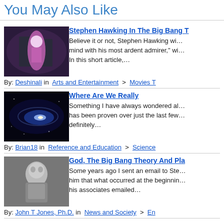You May Also Like
[Figure (photo): Photo of Big Bang Theory cast (two men and a woman in a pink dress)]
Stephen Hawking In The Big Bang T
Believe it or not, Stephen Hawking wi… mind with his most ardent admirer," wi… In this short article,…
By: Deshinali in Arts and Entertainment > Movies T
[Figure (photo): Photo of a galaxy (spiral galaxy in space)]
Where Are We Really
Something I have always wondered al… has been proven over just the last few… definitely…
By: Brian18 in Reference and Education > Science
[Figure (photo): Black and white photo of a man (Stephen Hawking)]
God, The Big Bang Theory And Pla
Some years ago I sent an email to Ste… him that what occurred at the beginnin… his associates emailed…
By: John T Jones, Ph.D. in News and Society > En